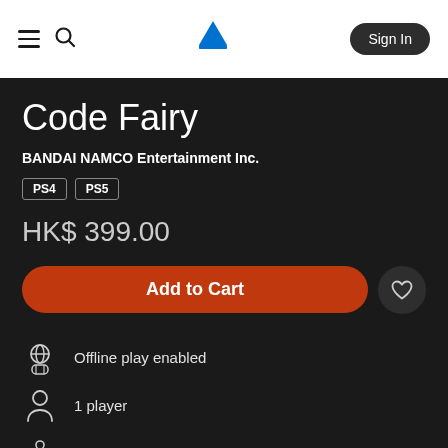PlayStation Store – Sign In
Code Fairy
BANDAI NAMCO Entertainment Inc.
PS4  PS5
HK$ 399.00
Add to Cart
Offline play enabled
1 player
Remote Play supported